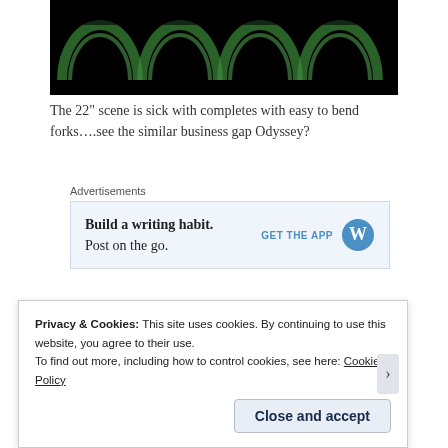[Figure (photo): Dark photo showing green-lit arches or curved shapes against a black background, partially cropped at top]
The 22" scene is sick with completes with easy to bend forks….see the similar business gap Odyssey?
[Figure (infographic): Advertisement banner: Build a writing habit. Post on the go. GET THE APP [WordPress logo]]
With a slight tweak the R32 forks could become the R22 fork.
Privacy & Cookies: This site uses cookies. By continuing to use this website, you agree to their use.
To find out more, including how to control cookies, see here: Cookie Policy